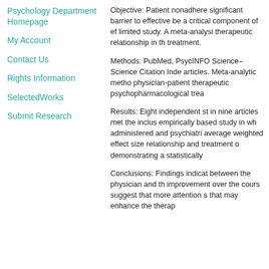Psychology Department Homepage
My Account
Contact Us
Rights Information
SelectedWorks
Submit Research
Objective: Patient nonadhere significant barrier to effective be a critical component of ef limited study. A meta-analysi therapeutic relationship in th treatment.
Methods: PubMed, PsycINFO Science–Science Citation Inde articles. Meta-analytic metho physician-patient therapeutic psychopharmacological trea
Results: Eight independent st in nine articles met the inclus empirically based study in wh administered and psychiatri average weighted effect size relationship and treatment o demonstrating a statistically
Conclusions: Findings indicat between the physician and th improvement over the cours suggest that more attention s that may enhance the therap